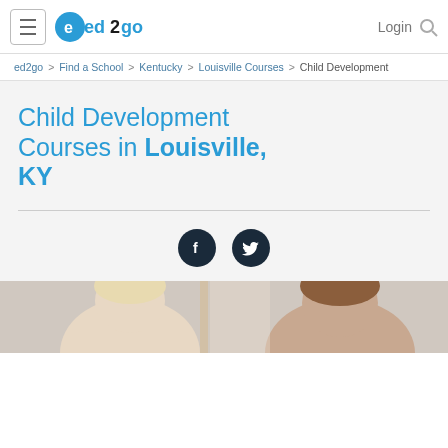ed2go navigation bar with hamburger menu, ed2go logo, Login, and search icon
ed2go > Find a School > Kentucky > Louisville Courses > Child Development
Child Development Courses in Louisville, KY
[Figure (infographic): Facebook and Twitter social sharing icons (dark circular buttons)]
[Figure (photo): Photo of two children, partially visible, in a classroom or educational setting]